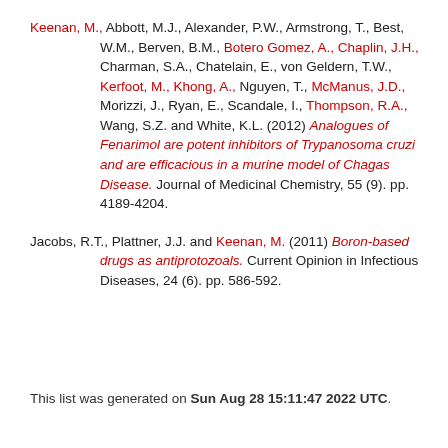Keenan, M., Abbott, M.J., Alexander, P.W., Armstrong, T., Best, W.M., Berven, B.M., Botero Gomez, A., Chaplin, J.H., Charman, S.A., Chatelain, E., von Geldern, T.W., Kerfoot, M., Khong, A., Nguyen, T., McManus, J.D., Morizzi, J., Ryan, E., Scandale, I., Thompson, R.A., Wang, S.Z. and White, K.L. (2012) Analogues of Fenarimol are potent inhibitors of Trypanosoma cruzi and are efficacious in a murine model of Chagas Disease. Journal of Medicinal Chemistry, 55 (9). pp. 4189-4204.
Jacobs, R.T., Plattner, J.J. and Keenan, M. (2011) Boron-based drugs as antiprotozoals. Current Opinion in Infectious Diseases, 24 (6). pp. 586-592.
This list was generated on Sun Aug 28 15:11:47 2022 UTC.